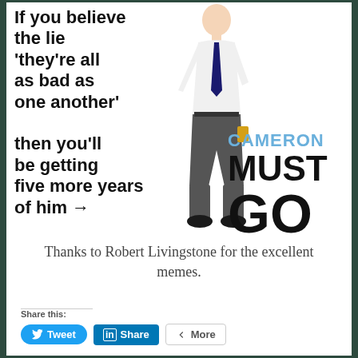[Figure (illustration): Political meme image showing a man in white shirt and dark tie and trousers. Left side has bold text: 'If you believe the lie ‘they’re all as bad as one another’ then you’ll be getting five more years of him →'. Right side shows 'CAMERON MUST GO' logo text.]
Thanks to Robert Livingstone for the excellent memes.
Share this: